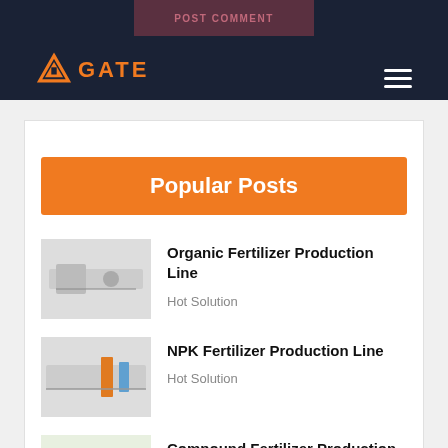POST COMMENT | GATE logo
Popular Posts
Organic Fertilizer Production Line — Hot Solution
NPK Fertilizer Production Line — Hot Solution
Compound Fertilizer Production Line